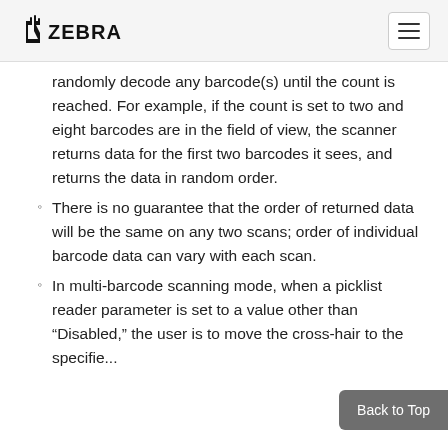ZEBRA
randomly decode any barcode(s) until the count is reached. For example, if the count is set to two and eight barcodes are in the field of view, the scanner returns data for the first two barcodes it sees, and returns the data in random order.
There is no guarantee that the order of returned data will be the same on any two scans; order of individual barcode data can vary with each scan.
In multi-barcode scanning mode, when a picklist reader parameter is set to a value other than “Disabled,” the user is to move the cross-hair to the specified